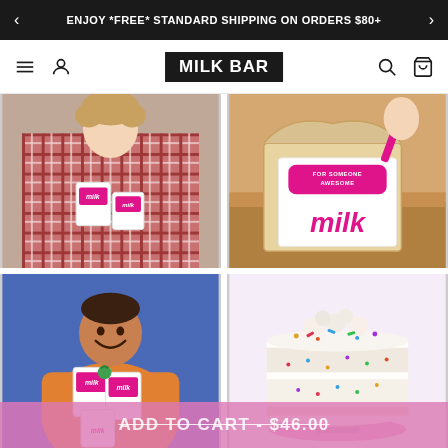ENJOY *FREE* STANDARD SHIPPING ON ORDERS $80+
MILK BAR
[Figure (photo): Person in red plaid jacket holding Milk Bar branded cups and boxes outdoors]
[Figure (photo): White Milk Bar branded shipping box labeled 'FOR SOMEONE AWESOME' being opened on a wooden table]
[Figure (photo): Smiling young man in orange sweater hugging multiple Milk Bar branded gift boxes against blue background]
[Figure (photo): Milk Bar funfetti birthday cake with white frosting, sprinkles, and cake truffles on top, on pink stand]
ADD TO CART - $46.00